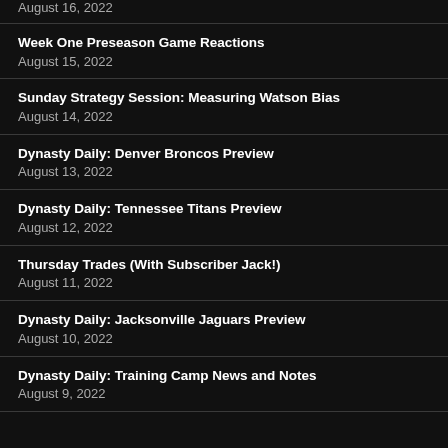August 16, 2022
Week One Preseason Game Reactions
August 15, 2022
Sunday Strategy Session: Measuring Watson Bias
August 14, 2022
Dynasty Daily: Denver Broncos Preview
August 13, 2022
Dynasty Daily: Tennessee Titans Preview
August 12, 2022
Thursday Trades (With Subscriber Jack!)
August 11, 2022
Dynasty Daily: Jacksonville Jaguars Preview
August 10, 2022
Dynasty Daily: Training Camp News and Notes
August 9, 2022